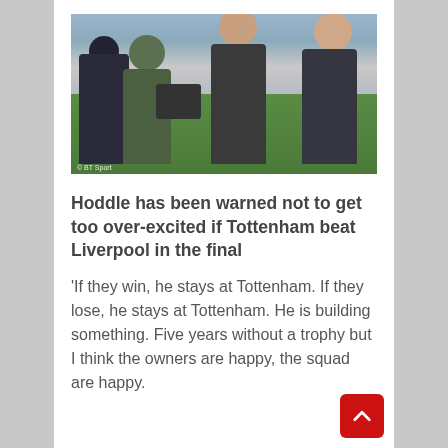[Figure (photo): TV pundits and camera crew on a football stadium pitch, with stands visible in background. © BT Sport watermark visible.]
Hoddle has been warned not to get too over-excited if Tottenham beat Liverpool in the final
‘If they win, he stays at Tottenham. If they lose, he stays at Tottenham. He is building something. Five years without a trophy but I think the owners are happy, the squad are happy.